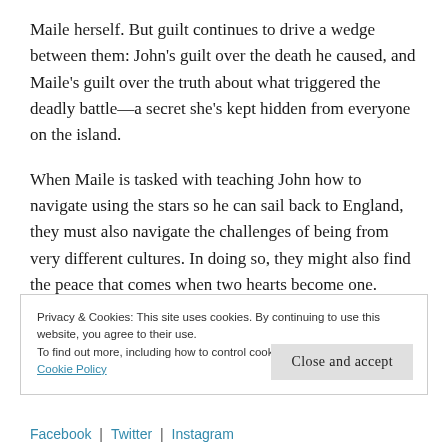Maile herself. But guilt continues to drive a wedge between them: John's guilt over the death he caused, and Maile's guilt over the truth about what triggered the deadly battle—a secret she's kept hidden from everyone on the island.
When Maile is tasked with teaching John how to navigate using the stars so he can sail back to England, they must also navigate the challenges of being from very different cultures. In doing so, they might also find the peace that comes when two hearts become one.
Privacy & Cookies: This site uses cookies. By continuing to use this website, you agree to their use.
To find out more, including how to control cookies, see here:
Cookie Policy

Close and accept
Facebook | Twitter | Instagram